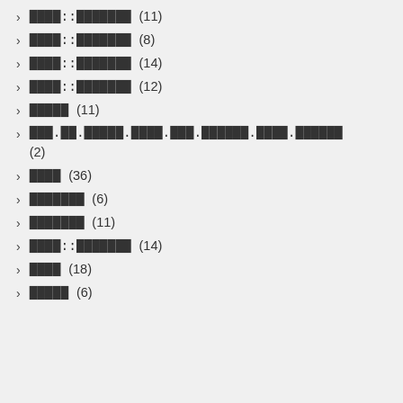████::███████ (11)
████::███████ (8)
████::███████ (14)
████::███████ (12)
█████ (11)
███.██.█████.████.███.██████.████.██████ (2)
████ (36)
███████ (6)
███████ (11)
████::███████ (14)
████ (18)
█████ (6)